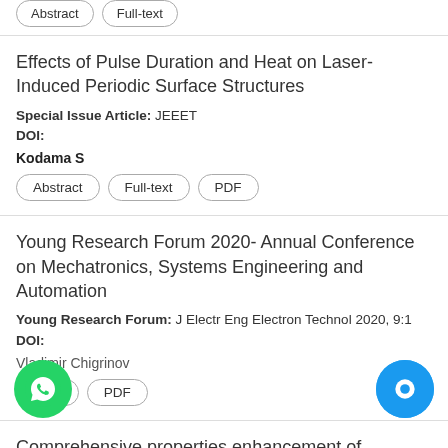[stub buttons at top]
Effects of Pulse Duration and Heat on Laser-Induced Periodic Surface Structures
Special Issue Article: JEEET
DOI:
Kodama S
Abstract | Full-text | PDF
Young Research Forum 2020- Annual Conference on Mechatronics, Systems Engineering and Automation
Young Research Forum: J Electr Eng Electron Technol 2020, 9:1
DOI:
Vladimir Chigrinov
Full-text | PDF
Comprehensive properties enhancement of graphene oxide reinforced polymer